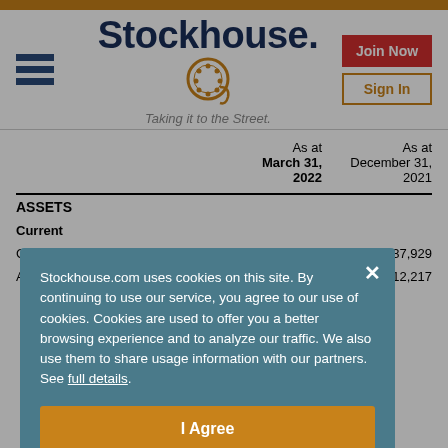[Figure (logo): Stockhouse logo with hamburger menu, Join Now and Sign In buttons]
|  | As at March 31, 2022 | As at December 31, 2021 |
| --- | --- | --- |
| ASSETS |  |  |
| Current |  |  |
| Cash | 37,245 | 37,929 |
| Accounts receivable | 74,675 | 12,217 |
Stockhouse.com uses cookies on this site. By continuing to use our service, you agree to our use of cookies. Cookies are used to offer you a better browsing experience and to analyze our traffic. We also use them to share usage information with our partners. See full details.
I Agree